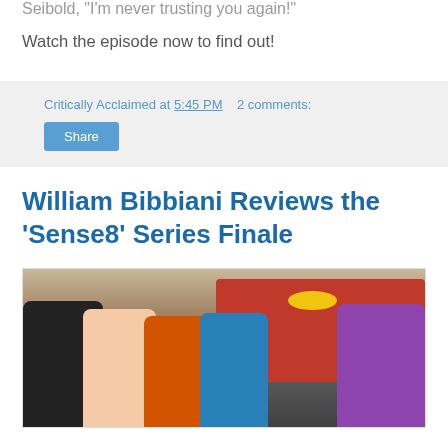Seibold, 'I'm never trusting you again!'
Watch the episode now to find out!
Critically Acclaimed at 5:45 PM   2 comments:
Share
William Bibbiani Reviews the 'Sense8' Series Finale
[Figure (photo): Group photo of several people posing energetically outdoors with a red van in the background]